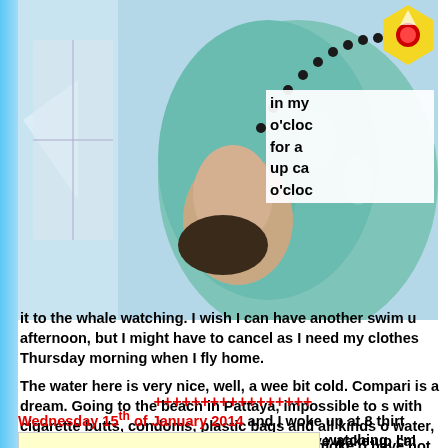[Figure (photo): Photo of a person in a Hawaiian/floral print shirt with dark beaded necklace, apparently sleeping or resting, viewed from behind/side]
in my o'cloc for a up ca o'cloc
it to the whale watching. I wish I can have another swim u afternoon, but I might have to cancel as I need my clothes Thursday morning when I fly home.
The water here is very nice, well, a wee bit cold. Compari is a dream. Going to the beach in Pattaya, impossible to s with cigarette butts, condoms, plastic bags and all kinds o water, really nasty. In Honolulu it is forbidden to smoke o have not seen any cigarette butts in the water here.
+++++++++++++++++
Wednesday 15th of January 2014 and I woke up at 8 thirt before my wake up call, yes, a shame to have wake-up cal watching, I'm